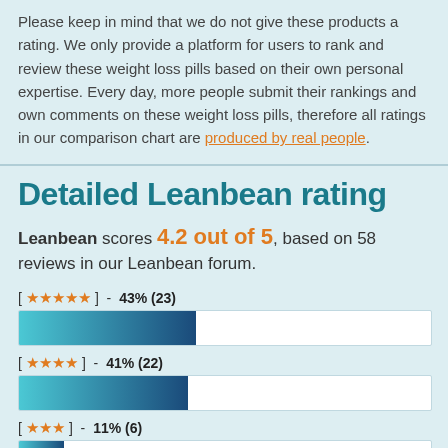Please keep in mind that we do not give these products a rating. We only provide a platform for users to rank and review these weight loss pills based on their own personal expertise. Every day, more people submit their rankings and own comments on these weight loss pills, therefore all ratings in our comparison chart are produced by real people.
Detailed Leanbean rating
Leanbean scores 4.2 out of 5, based on 58 reviews in our Leanbean forum.
[★★★★★] - 43% (23)
[Figure (bar-chart): 5-star rating bar]
[★★★★] - 41% (22)
[Figure (bar-chart): 4-star rating bar]
[★★★] - 11% (6)
[Figure (bar-chart): 3-star rating bar]